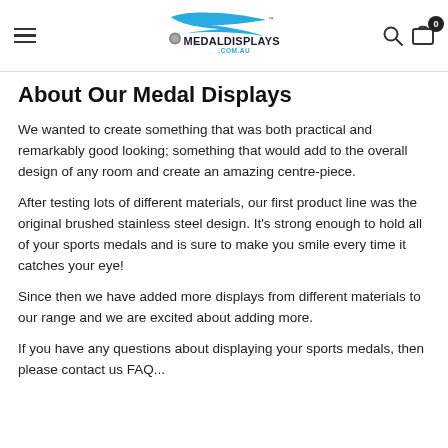MedalDisplays.com.au
About Our Medal Displays
We wanted to create something that was both practical and remarkably good looking; something that would add to the overall design of any room and create an amazing centre-piece.
After testing lots of different materials, our first product line was the original brushed stainless steel design. It's strong enough to hold all of your sports medals and is sure to make you smile every time it catches your eye!
Since then we have added more displays from different materials to our range and we are excited about adding more.
If you have any questions about displaying your sports medals, then please contact us FAQ...